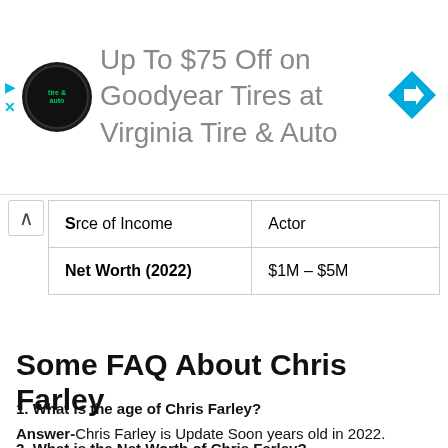[Figure (illustration): Advertisement banner for Virginia Tire & Auto showing logo, text 'Up To $75 Off on Goodyear Tires at Virginia Tire & Auto', and a blue navigation arrow icon]
| Source of Income | Actor |
| Net Worth (2022) | $1M – $5M |
Some FAQ About Chris Farley
1. What is the age of Chris Farley?
Answer-Chris Farley is Update Soon years old in 2022.
2. What is the Net Worth of Chris Farley?